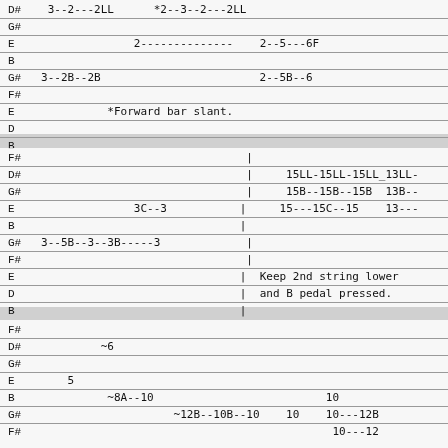Guitar tablature notation - section 1:
D#  3--2---2LL      *2--3--2---2LL
G#
E                  2--------------    2--5---6F
B
G#   3--2B--2B                        2--5B--6
F#
E              *Forward bar slant.
D
B
Guitar tablature notation - section 2:
F#                                  |
D#                                  |     15LL-15LL-15LL_13LL-
G#                                  |     15B--15B--15B  13B--
E                  3C--3            |     15---15C--15    13---
B                                   |
G#   3--5B--3--3B-----3             |
F#                                  |
E                                   |  Keep 2nd string lower
D                                   |  and B pedal pressed.
B                                   |
Guitar tablature notation - section 3:
F#
D#            ~6
G#
E        5
B              ~8A--10                          10
G#                       ~12B--10B--10    10    10---12B
F#                                               10---12